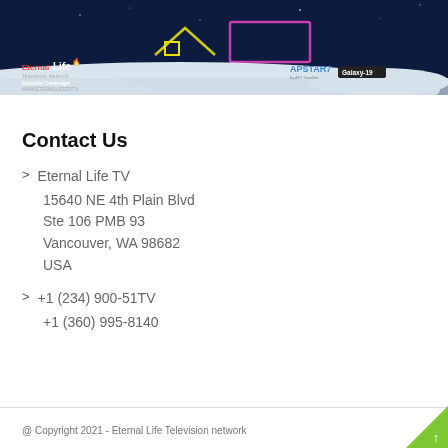[Figure (photo): Eternal Life TV satellite coverage promotional banner image showing a dark night sky background with snow-covered terrain, Eternal Life Television network logo, APSTAR7 and Galaxy-19 satellite logos]
Contact Us
Eternal Life TV
15640 NE 4th Plain Blvd
Ste 106 PMB 93
Vancouver, WA 98682
USA
+1 (234) 900-51TV
+1 (360) 995-8140
@ Copyright 2021 - Eternal Life Television network